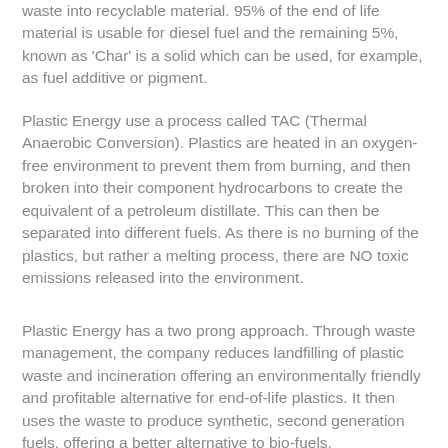waste into recyclable material. 95% of the end of life material is usable for diesel fuel and the remaining 5%, known as 'Char' is a solid which can be used, for example, as fuel additive or pigment.
Plastic Energy use a process called TAC (Thermal Anaerobic Conversion). Plastics are heated in an oxygen-free environment to prevent them from burning, and then broken into their component hydrocarbons to create the equivalent of a petroleum distillate. This can then be separated into different fuels. As there is no burning of the plastics, but rather a melting process, there are NO toxic emissions released into the environment.
Plastic Energy has a two prong approach. Through waste management, the company reduces landfilling of plastic waste and incineration offering an environmentally friendly and profitable alternative for end-of-life plastics. It then uses the waste to produce synthetic, second generation fuels, offering a better alternative to bio-fuels.